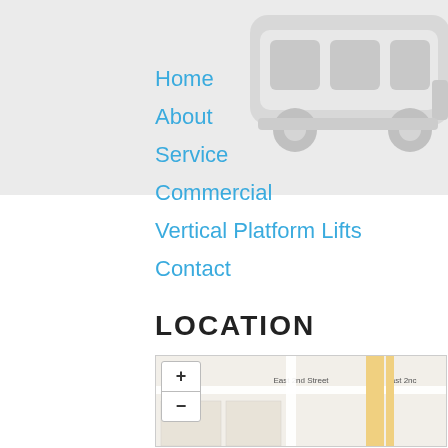[Figure (illustration): Logo/icon area with a stylized van or vehicle silhouette in light gray at the top of the page]
Home
About
Service
Commercial
Vertical Platform Lifts
Contact
LOCATION
[Figure (map): Street map showing location near Kietzke Lane and Mill Street, with East 2nd Street and N-South Fwy visible. A blue location pin marks the spot. Map has zoom +/- controls.]